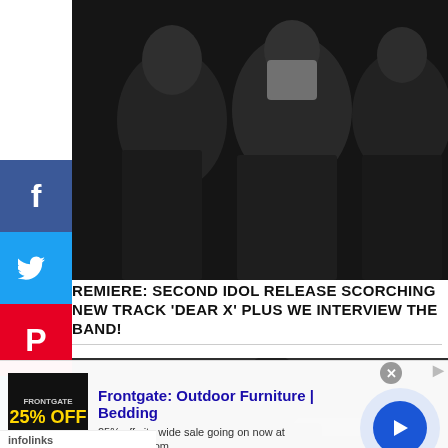[Figure (photo): Black and white photo of a band or group of people sitting, upper bodies visible, informal setting]
PREMIERE: SECOND IDOL RELEASE SCORCHING NEW TRACK 'DEAR X' PLUS WE INTERVIEW THE BAND!
[Figure (photo): Black and white photo of musicians playing guitar on stage]
[Figure (other): Advertisement: Frontgate: Outdoor Furniture | Bedding — 25% off site wide sale going on now at Frontgate.com — frontgate.com]